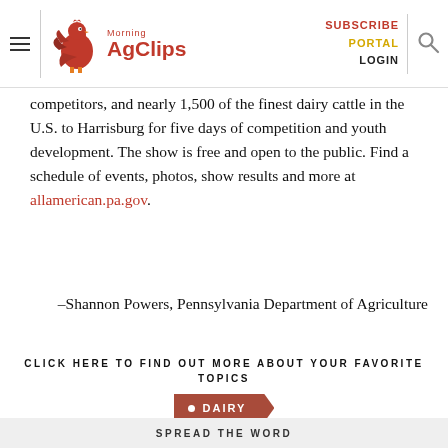Morning AgClips — SUBSCRIBE PORTAL LOGIN
competitors, and nearly 1,500 of the finest dairy cattle in the U.S. to Harrisburg for five days of competition and youth development. The show is free and open to the public. Find a schedule of events, photos, show results and more at allamerican.pa.gov.
–Shannon Powers, Pennsylvania Department of Agriculture
CLICK HERE TO FIND OUT MORE ABOUT YOUR FAVORITE TOPICS
DAIRY
SPREAD THE WORD